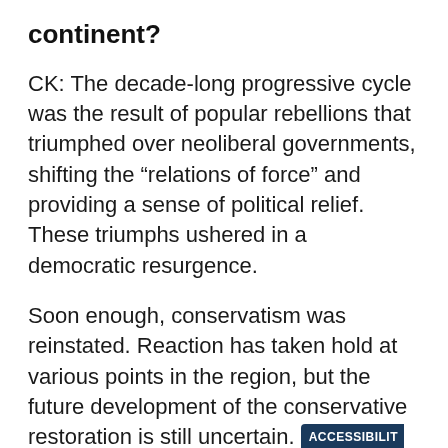continent?
CK: The decade-long progressive cycle was the result of popular rebellions that triumphed over neoliberal governments, shifting the “relations of force” and providing a sense of political relief. These triumphs ushered in a democratic resurgence.
Soon enough, conservatism was reinstated. Reaction has taken hold at various points in the region, but the future development of the conservative restoration is still uncertain. restoration hasn’t been consolidated